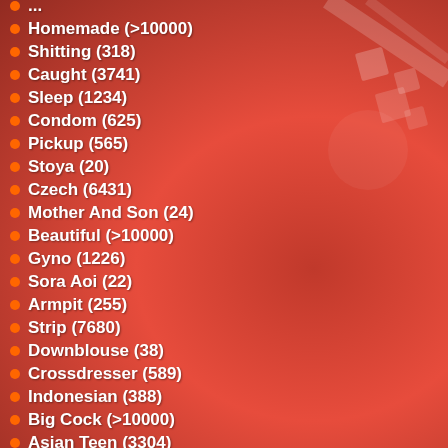Homemade (>10000)
Shitting (318)
Caught (3741)
Sleep (1234)
Condom (625)
Pickup (565)
Stoya (20)
Czech (6431)
Mother And Son (24)
Beautiful (>10000)
Gyno (1226)
Sora Aoi (22)
Armpit (255)
Strip (7680)
Downblouse (38)
Crossdresser (589)
Indonesian (388)
Big Cock (>10000)
Asian Teen (3304)
Pakistani (464)
Polish (603)